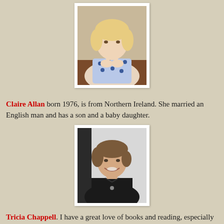[Figure (photo): Portrait photo of Claire Allan, a young woman with blonde hair, sitting at a table with her hands clasped, wearing a blue polka-dot top.]
Claire Allan born 1976, is from Northern Ireland. She married an English man and has a son and a baby daughter.
[Figure (photo): Portrait photo of Tricia Chappell, a middle-aged woman with short brown hair, smiling.]
Tricia Chappell. I have a great love of books and reading, especially crime and thrillers. I play the occasional game of golf (when I am not reading). My great love is cruising especially to far flung places, when there are long days at sea for plenty more reading. I am well on the way to being a devoted blogger of books!